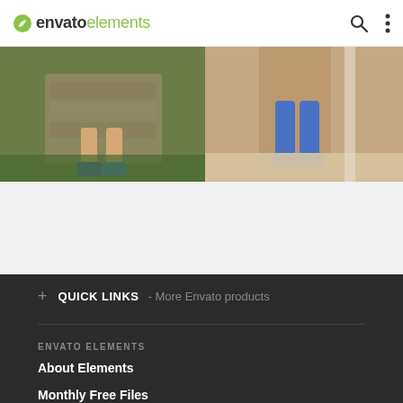envato elements
[Figure (photo): Two cropped photos side by side: left shows children's feet/legs near a stone wall with greenery background; right shows a child in blue jeans sitting on a ledge]
+ QUICK LINKS - More Envato products
ENVATO ELEMENTS
About Elements
Monthly Free Files
License
Sitemap